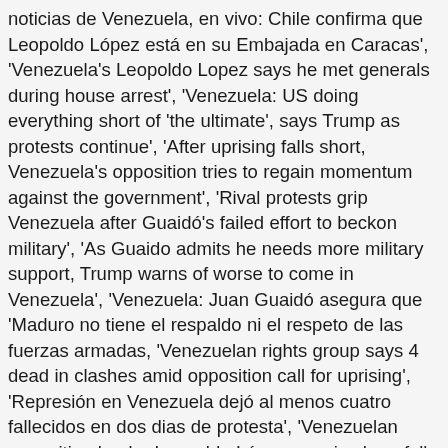noticias de Venezuela, en vivo: Chile confirma que Leopoldo López está en su Embajada en Caracas', 'Venezuela's Leopoldo Lopez says he met generals during house arrest', 'Venezuela: US doing everything short of 'the ultimate', says Trump as protests continue', 'After uprising falls short, Venezuela's opposition tries to regain momentum against the government', 'Rival protests grip Venezuela after Guaidó's failed effort to beckon military', 'As Guaido admits he needs more military support, Trump warns of worse to come in Venezuela', 'Venezuela: Juan Guaidó asegura que 'Maduro no tiene el respaldo ni el respeto de las fuerzas armadas, 'Venezuelan rights group says 4 dead in clashes amid opposition call for uprising', 'Represión en Venezuela dejó al menos cuatro fallecidos en dos dias de protesta', 'Venezuelan opposition leader Leopoldo López remains hopeful', 'Venezuela crisis: Defiant Maduro appears with soldiers', 'Venezuela's Juan Guaidó says he overestimated military support', 'Military support overestimated in failed uprising, says Guaidó', 'Guaidó says opposition overestimated military support